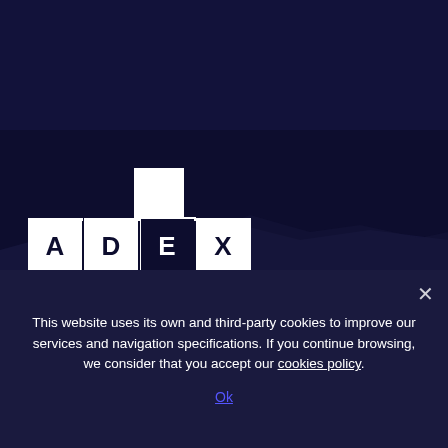[Figure (logo): ADEX logo - cross/plus shape made of white squares with letters A, D, E, X in a row, with cross arms extending above and below the D square]
ADEX has developed and patented a disruptive control Technology brought to life through our Self-Tuning Artificial Intelligence platform.
This website uses its own and third-party cookies to improve our services and navigation specifications. If you continue browsing, we consider that you accept our cookies policy.
Ok